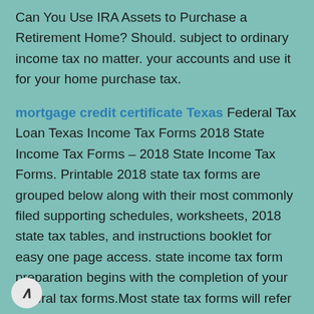Can You Use IRA Assets to Purchase a Retirement Home? Should. subject to ordinary income tax no matter. your accounts and use it for your home purchase tax.
mortgage credit certificate Texas Federal Tax Loan Texas Income Tax Forms 2018 State Income Tax Forms – 2018 State Income Tax Forms. Printable 2018 state tax forms are grouped below along with their most commonly filed supporting schedules, worksheets, 2018 state tax tables, and instructions booklet for easy one page access. state income tax form preparation begins with the completion of your federal tax forms.Most state tax forms will refer to the income, adjustments and credit amounts entered.Topic No. 202 Tax Payment Options | Internal Revenue Service – Tax Topics; Topic No. 202 Tax Payment Options. Paying electronically is a convenient way to pay your federal taxes online, by phone for